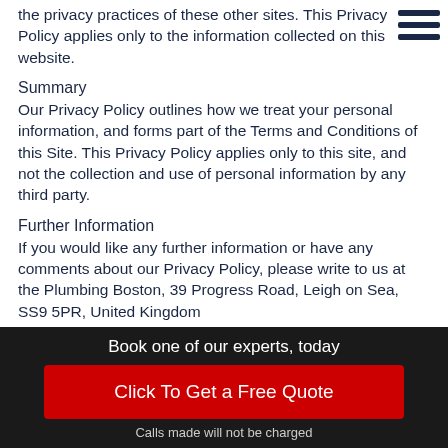the privacy practices of these other sites. This Privacy Policy applies only to the information collected on this website.
Summary
Our Privacy Policy outlines how we treat your personal information, and forms part of the Terms and Conditions of this Site. This Privacy Policy applies only to this site, and not the collection and use of personal information by any third party.
Further Information
If you would like any further information or have any comments about our Privacy Policy, please write to us at the Plumbing Boston, 39 Progress Road, Leigh on Sea, SS9 5PR, United Kingdom
Book one of our experts, today
Click To Get a Free Quote
Calls made will not be charged